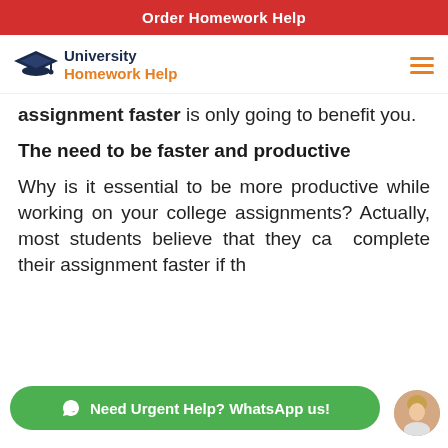Order Homework Help
[Figure (logo): University Homework Help logo with graduation cap icon, navy and orange text]
assignment faster is only going to benefit you.
The need to be faster and productive
Why is it essential to be more productive while working on your college assignments? Actually, most students believe that they can complete their assignment faster if they manage their homework. The...